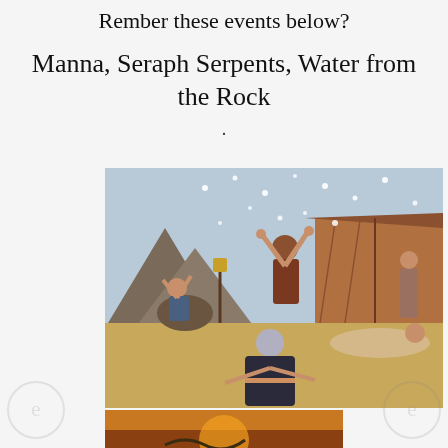Rember these events below?
Manna, Seraph Serpents, Water from the Rock
.
[Figure (illustration): Biblical illustration showing people in ancient desert camp with tents, raising arms upward, with small white dots (manna) falling from the sky. Figures in robes gathered together, sandy desert landscape with mountains in background.]
[Figure (illustration): Partial illustration at bottom showing a sunset or sunrise scene, partially visible.]